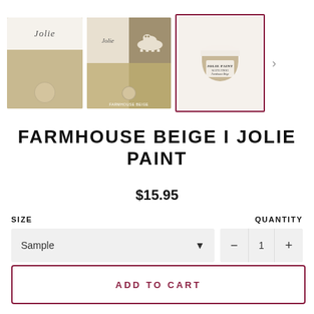[Figure (photo): Three product thumbnail images of Farmhouse Beige Jolie Paint: a paint swatch card, a mood board with cow and beige textures, and a paint jar with selected border.]
FARMHOUSE BEIGE I JOLIE PAINT
$15.95
SIZE
QUANTITY
Sample (dropdown)
1 (quantity control)
ADD TO CART